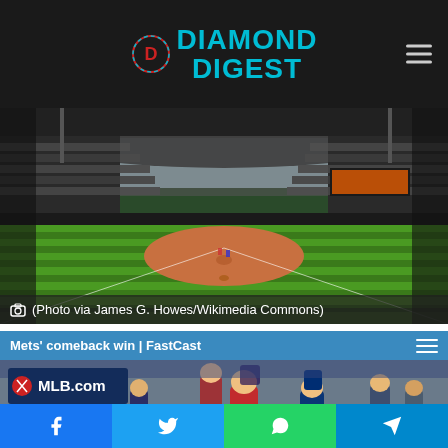Diamond Digest
[Figure (photo): Baseball stadium interior showing field with green grass striping, infield dirt, and empty stands under a light sky. Wide-angle view from field level.]
(Photo via James G. Howes/Wikimedia Commons)
[Figure (screenshot): Embedded MLB.com video player showing 'Mets' comeback win | FastCast' with mute button and audience in background.]
Facebook | Twitter | WhatsApp | Telegram share buttons